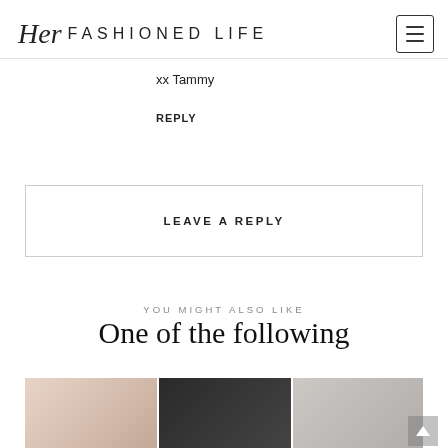Her FASHIONED LIFE
xx Tammy
REPLY
LEAVE A REPLY
YOU MIGHT ALSO LIKE
One of the following
[Figure (photo): Three fashion photos side by side: woman in pink blazer, woman in black halter top, woman in grey cardigan]